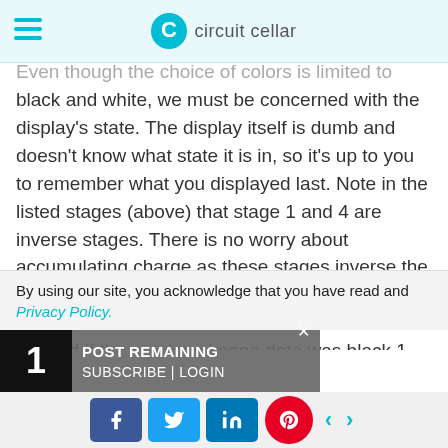circuit cellar
Even though the choice of colors is limited to black and white, we must be concerned with the display's state. The display itself is dumb and doesn't know what state it is in, so it's up to you to remember what you displayed last. Note in the listed stages (above) that stage 1 and 4 are inverse stages. There is no worry about accumulating charge as these stages inverse the present charge, so if previous image data is white 0, the encoded data for an inverse is black 11; and if the previous image data was black 1, the encoded data for an inverse is white 10. However, in stages 2 and 3 the data may remain the same for a given pixel. When a pixel is not going to be inverted, the encoded data used is a nothing 00, preventing over charging the pixel. So, while image data is 1 bit per
By using our site, you acknowledge that you have read and
Privacy Policy.
1 POST REMAINING
SUBSCRIBE | LOGIN